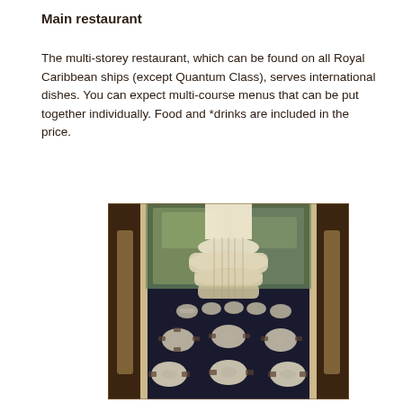Main restaurant
The multi-storey restaurant, which can be found on all Royal Caribbean ships (except Quantum Class), serves international dishes. You can expect multi-course menus that can be put together individually. Food and *drinks are included in the price.
[Figure (photo): Aerial/top-down view of a multi-storey cruise ship main restaurant interior showing round dining tables with white tablecloths, chairs, a large cylindrical layered chandelier/light fixture in the center, decorative columns, carpeted floor, and wall murals/artwork in the background.]